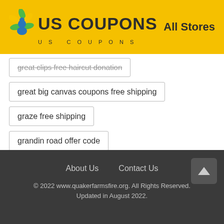US COUPONS | All Stores
great clips free haircut donation
great big canvas coupons free shipping
graze free shipping
grandin road offer code
About Us   Contact Us
© 2022 www.quakerfarmsfire.org. All Rights Reserved. Updated in August 2022.